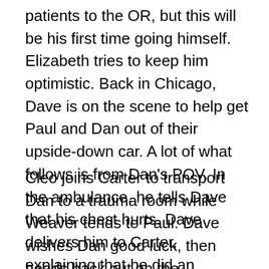patients to the OR, but this will be his first time going himself. Elizabeth tries to keep him optimistic. Back in Chicago, Dave is on the scene to help get Paul and Dan out of their upside-down car. A lot of what follows is from Dan's POV. In the ambulance, he tells Dave that his chest hurts. Dave delivers him to Carter, explaining that he did an ambulance ride-along as part of his residency.
Cleo joins Carter to transport Dan to a trauma room while Weaver tends to Paul. Dave wishes Dan good luck, then heads back out on the ambulance. Carter reinflates Dan's collapsed lung while Cleo gets information out of him like his family doctor and a person to contact. Paul is in the next trauma room, so Cleo holds the door between the rooms open to let them check on each other. Dan notes that his wife will be mad about the crashed car, and jokes that he has intent to tell that Paul was his...